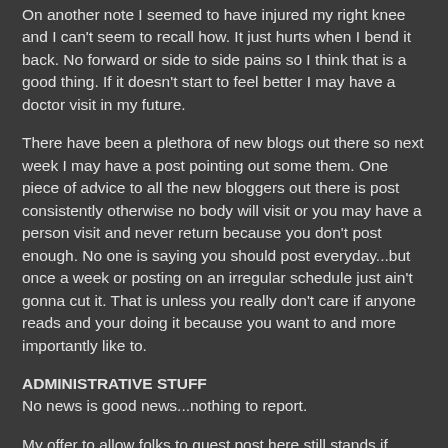On another note I seemed to have injured my right knee and I can't seem to recall how. It just hurts when I bend it back. No forward or side to side pains so I think that is a good thing. If it doesn't start to feel better I may have a doctor visit in my future.
There have been a plethora of new blogs out there so next week I may have a post pointing out some them. One piece of advice to all the new bloggers out there is post consistently otherwise no body will visit or you may have a person visit and never return because you don't post enough. No one is saying you should post everyday...but once a week or posting on an irregular schedule just ain't gonna cut it. That is unless you really don't care if anyone reads and your doing it because you want to and more importantly like to.
ADMINISTRATIVE STUFF
No news is good news...nothing to report.
My offer to allow folks to guest post here still stands if anyone is interested email me at beasurvivor.blogspot@gmail.com and we'll talk about it.